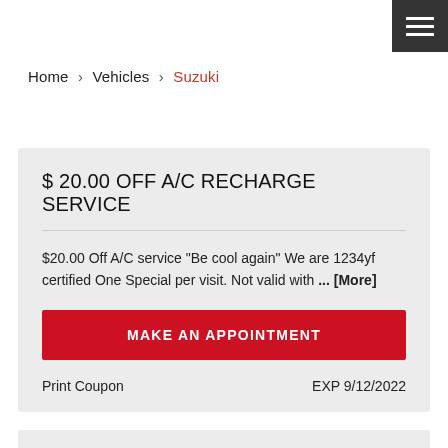Home > Vehicles > Suzuki
$ 20.00 OFF A/C RECHARGE SERVICE
$20.00 Off A/C service "Be cool again" We are 1234yf certified One Special per visit. Not valid with ... [More]
MAKE AN APPOINTMENT
Print Coupon    EXP 9/12/2022